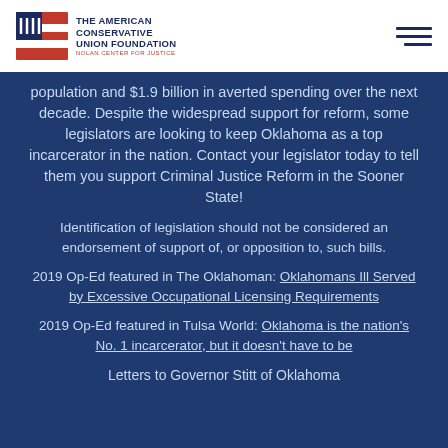The American Conservative Union Foundation — Nolan Center for Justice
population and $1.9 billion in averted spending over the next decade. Despite the widespread support for reform, some legislators are looking to keep Oklahoma as a top incarcerator in the nation. Contact your legislator today to tell them you support Criminal Justice Reform in the Sooner State!
Identification of legislation should not be considered an endorsement of support of, or opposition to, such bills.
2019 Op-Ed featured in The Oklahoman: Oklahomans Ill Served by Excessive Occupational Licensing Requirements
2019 Op-Ed featured in Tulsa World: Oklahoma is the nation's No. 1 incarcerator, but it doesn't have to be
Letters to Governor Stitt of Oklahoma